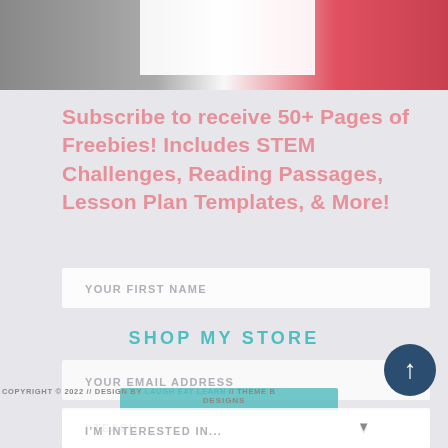[Figure (photo): Top banner image showing a whiteboard/sign in the center, gray background on the left, red/pink background on the right]
Subscribe to receive 50+ Pages of Freebies! Includes STEM Challenges, Reading Passages, Lesson Plan Templates, & More!
YOUR FIRST NAME
SHOP MY STORE
YOUR EMAIL ADDRESS
I TEACH
COPYRIGHT © 2022 // DESIGN BY LAUGH EAT LEARN // THEME B[Y] O YOU DESIGNS
I'M INTERESTED IN...